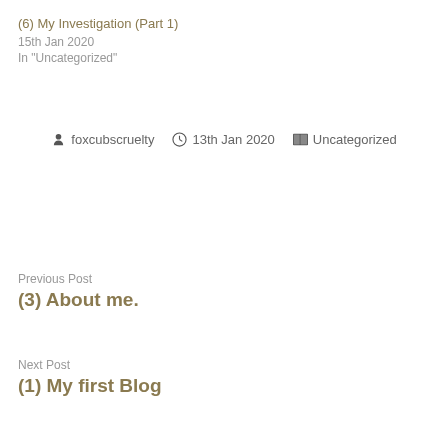(6) My Investigation (Part 1)
15th Jan 2020
In "Uncategorized"
foxcubscruelty   13th Jan 2020   Uncategorized
Previous Post
(3) About me.
Next Post
(1) My first Blog